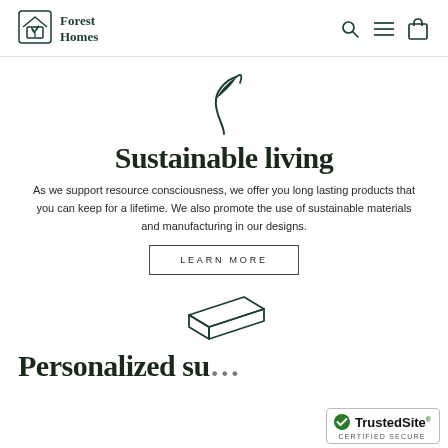Forest Homes
[Figure (illustration): Forest Homes logo: a house outline with a plant/flower inside, dark green color]
[Figure (illustration): Leaf icon with curling stem, dark green, centered]
Sustainable living
As we support resource consciousness, we offer you long lasting products that you can keep for a lifetime. We also promote the use of sustainable materials and manufacturing in our designs.
LEARN MORE
[Figure (illustration): Icon of a flat rectangular book/slab shape, dark green outline, isometric perspective]
Personalized su
[Figure (logo): TrustedSite CERTIFIED SECURE badge with green checkmark]